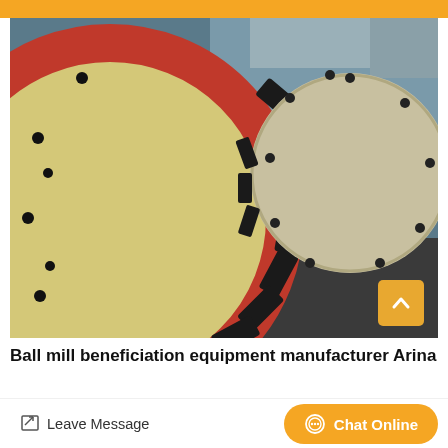[Figure (photo): Close-up photograph of a large ball mill gear assembly. A large cream/yellow-painted circular flange with black bolts is on the left, attached to a wide red ring gear with heavy black teeth. A smaller silver/cream circular end plate with black bolt holes is visible on the right side. The background shows industrial equipment in blue tones.]
Ball mill beneficiation equipment manufacturer Arina
Leave Message
Chat Online